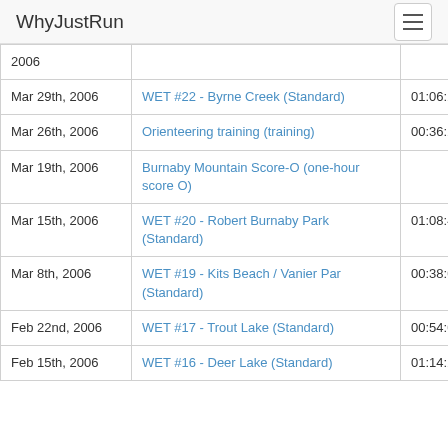WhyJustRun
| Date | Event | Time |
| --- | --- | --- |
| 2006 |  |  |
| Mar 29th, 2006 | WET #22 - Byrne Creek (Standard) | 01:06:20 |
| Mar 26th, 2006 | Orienteering training (training) | 00:36:28 |
| Mar 19th, 2006 | Burnaby Mountain Score-O (one-hour score O) |  |
| Mar 15th, 2006 | WET #20 - Robert Burnaby Park (Standard) | 01:08:41 |
| Mar 8th, 2006 | WET #19 - Kits Beach / Vanier Par (Standard) | 00:38:00 |
| Feb 22nd, 2006 | WET #17 - Trout Lake (Standard) | 00:54:05 |
| Feb 15th, 2006 | WET #16 - Deer Lake (Standard) | 01:14:23 |